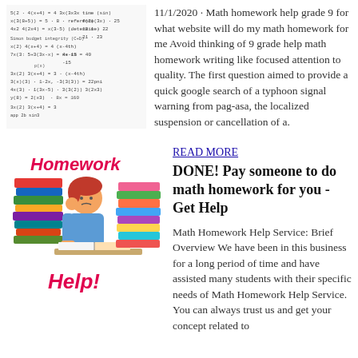[Figure (illustration): Handwritten math homework equations and calculations]
11/1/2020 · Math homework help grade 9 for what website will do my math homework for me Avoid thinking of 9 grade help math homework writing like focused attention to quality. The first question aimed to provide a quick google search of a typhoon signal warning from pag-asa, the localized suspension or cancellation of a.
[Figure (illustration): Cartoon illustration of a student sitting at a desk surrounded by tall stacks of books, looking frustrated, with text 'Homework Help!' in red/pink]
READ MORE
DONE! Pay someone to do math homework for you - Get Help
Math Homework Help Service: Brief Overview We have been in this business for a long period of time and have assisted many students with their specific needs of Math Homework Help Service. You can always trust us and get your concept related to